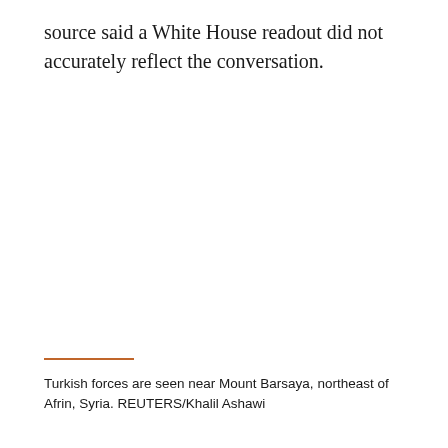source said a White House readout did not accurately reflect the conversation.
Turkish forces are seen near Mount Barsaya, northeast of Afrin, Syria. REUTERS/Khalil Ashawi